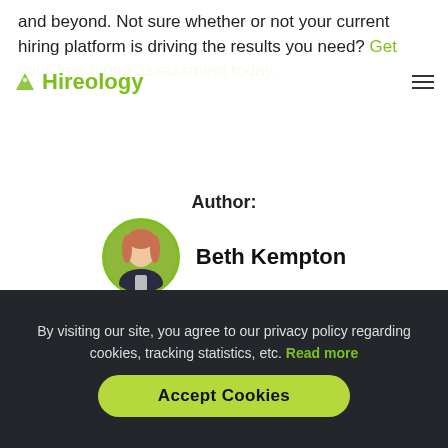Hireology
and beyond. Not sure whether or not your current hiring platform is driving the results you need? Get your free hiring assessment today.
Author:
[Figure (photo): Circular portrait photo of Beth Kempton with green background]
Beth Kempton
Share:
[Figure (illustration): Social share icons: Facebook, Twitter, LinkedIn]
By visiting our site, you agree to our privacy policy regarding cookies, tracking statistics, etc. Read more
Accept Cookies